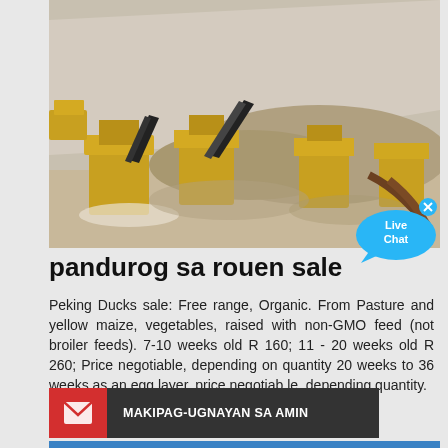[Figure (photo): Mining/quarry site with yellow heavy machinery, conveyor belts, and crushed stone/gravel piles in a sandy excavation area]
[Figure (illustration): Live Chat speech bubble icon in cyan/blue color with 'Live Chat' text and an X close button]
pandurog sa rouen sale
Peking Ducks sale: Free range, Organic. From Pasture and yellow maize, vegetables, raised with non-GMO feed (not broiler feeds). 7-10 weeks old R 160; 11 - 20 weeks old R 260; Price negotiable, depending on quantity 20 weeks to 36 weeks as an egg layer, price negotiab le, depending quantity.
[Figure (illustration): Contact bar with red envelope icon section and dark grey section with white bold text 'MAKIPAG-UGNAYAN SA AMIN']
[Figure (photo): Bottom strip of an outdoor industrial structure photo, partially visible, blue sky and machinery visible]